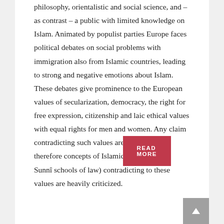philosophy, orientalistic and social science, and – as contrast – a public with limited knowledge on Islam. Animated by populist parties Europe faces political debates on social problems with immigration also from Islamic countries, leading to strong and negative emotions about Islam. These debates give prominence to the European values of secularization, democracy, the right for free expression, citizenship and laic ethical values with equal rights for men and women. Any claim contradicting such values are rejected, and therefore concepts of Islamic Law (sharî'ah, Sunnî schools of law) contradicting to these values are heavily criticized.